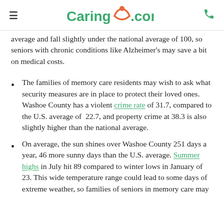Caring.com
average and fall slightly under the national average of 100, so seniors with chronic conditions like Alzheimer’s may save a bit on medical costs.
The families of memory care residents may wish to ask what security measures are in place to protect their loved ones. Washoe County has a violent crime rate of 31.7, compared to the U.S. average of 22.7, and property crime at 38.3 is also slightly higher than the national average.
On average, the sun shines over Washoe County 251 days a year, 46 more sunny days than the U.S. average. Summer highs in July hit 89 compared to winter lows in January of 23. This wide temperature range could lead to some days of extreme weather, so families of seniors in memory care may